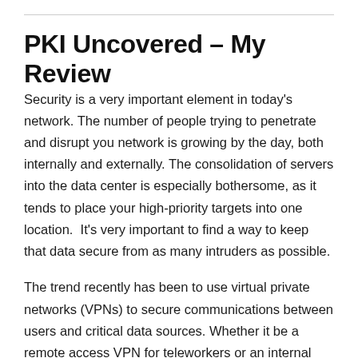PKI Uncovered – My Review
Security is a very important element in today's network. The number of people trying to penetrate and disrupt you network is growing by the day, both internally and externally. The consolidation of servers into the data center is especially bothersome, as it tends to place your high-priority targets into one location.  It's very important to find a way to keep that data secure from as many intruders as possible.
The trend recently has been to use virtual private networks (VPNs) to secure communications between users and critical data sources. Whether it be a remote access VPN for teleworkers or an internal VPN for HIPAA or PCI compliance, securing data with an encrypted tunnel is the